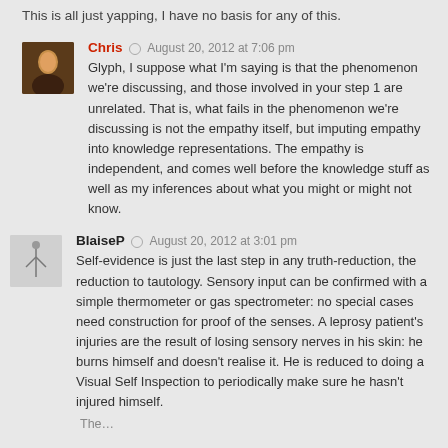This is all just yapping, I have no basis for any of this.
Chris  August 20, 2012 at 7:06 pm
Glyph, I suppose what I'm saying is that the phenomenon we're discussing, and those involved in your step 1 are unrelated. That is, what fails in the phenomenon we're discussing is not the empathy itself, but imputing empathy into knowledge representations. The empathy is independent, and comes well before the knowledge stuff as well as my inferences about what you might or might not know.
BlaiseP  August 20, 2012 at 3:01 pm
Self-evidence is just the last step in any truth-reduction, the reduction to tautology. Sensory input can be confirmed with a simple thermometer or gas spectrometer: no special cases need construction for proof of the senses. A leprosy patient's injuries are the result of losing sensory nerves in his skin: he burns himself and doesn't realise it. He is reduced to doing a Visual Self Inspection to periodically make sure he hasn't injured himself.
The...